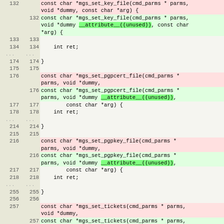| old_ln | new_ln | code |
| --- | --- | --- |
| 132 |  | const char *mgs_set_key_file(cmd_parms * parms,
void *dummy, const char *arg) { |
|  | 132 | const char *mgs_set_key_file(cmd_parms * parms,
void *dummy __attribute__((unused)), const char
*arg) { |
| 133 | 133 |  |
| 134 | 134 |     int ret; |
| ... | ... |  |
| 174 | 174 | } |
| 175 | 175 |  |
| 176 |  | const char *mgs_set_pgpcert_file(cmd_parms *
parms, void *dummy, |
|  | 176 | const char *mgs_set_pgpcert_file(cmd_parms *
parms, void *dummy __attribute__((unused)), |
| 177 | 177 |         const char *arg) { |
| 178 | 178 |     int ret; |
| ... | ... |  |
| 214 | 214 | } |
| 215 | 215 |  |
| 216 |  | const char *mgs_set_pgpkey_file(cmd_parms *
parms, void *dummy, |
|  | 216 | const char *mgs_set_pgpkey_file(cmd_parms *
parms, void *dummy __attribute__((unused)), |
| 217 | 217 |         const char *arg) { |
| 218 | 218 |     int ret; |
| ... | ... |  |
| 255 | 255 | } |
| 256 | 256 |  |
| 257 |  | const char *mgs_set_tickets(cmd_parms * parms,
void *dummy, |
|  | 257 | const char *mgs_set_tickets(cmd_parms * parms,
void *dummy __attribute__((unused)), |
| 258 | 258 |         const char *arg) { |